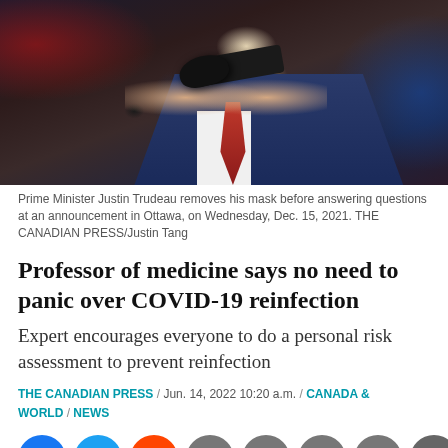[Figure (photo): Prime Minister Justin Trudeau removing his black mask before a press conference, wearing a dark blue suit and red patterned tie, standing at a microphone against a dark background with red and blue lighting.]
Prime Minister Justin Trudeau removes his mask before answering questions at an announcement in Ottawa, on Wednesday, Dec. 15, 2021. THE CANADIAN PRESS/Justin Tang
Professor of medicine says no need to panic over COVID-19 reinfection
Expert encourages everyone to do a personal risk assessment to prevent reinfection
THE CANADIAN PRESS / Jun. 14, 2022 10:20 a.m. / CANADA & WORLD / NEWS